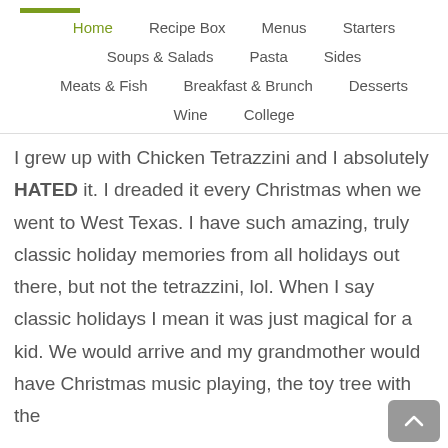Home | Recipe Box | Menus | Starters | Soups & Salads | Pasta | Sides | Meats & Fish | Breakfast & Brunch | Desserts | Wine | College
I grew up with Chicken Tetrazzini and I absolutely HATED it. I dreaded it every Christmas when we went to West Texas. I have such amazing, truly classic holiday memories from all holidays out there, but not the tetrazzini, lol. When I say classic holidays I mean it was just magical for a kid. We would arrive and my grandmother would have Christmas music playing, the toy tree with the